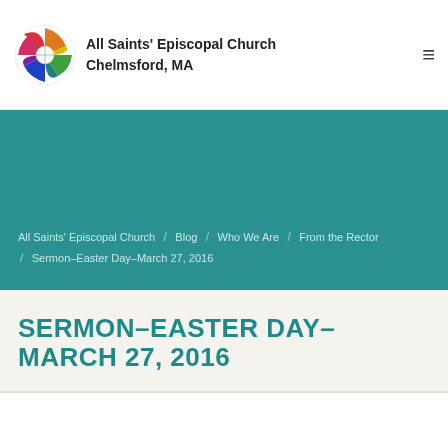All Saints' Episcopal Church
Chelmsford, MA
All Saints' Episcopal Church / Blog / Who We Are / From the Rector / Sermon–Easter Day–March 27, 2016
SERMON–EASTER DAY–MARCH 27, 2016